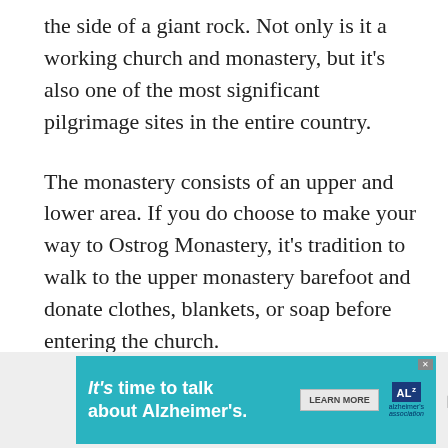the side of a giant rock. Not only is it a working church and monastery, but it's also one of the most significant pilgrimage sites in the entire country.
The monastery consists of an upper and lower area. If you do choose to make your way to Ostrog Monastery, it's tradition to walk to the upper monastery barefoot and donate clothes, blankets, or soap before entering the church.
[Figure (other): Advertisement banner for Alzheimer's Association: 'It's time to talk about Alzheimer's.' with a Learn More button and Alzheimer's Association logo.]